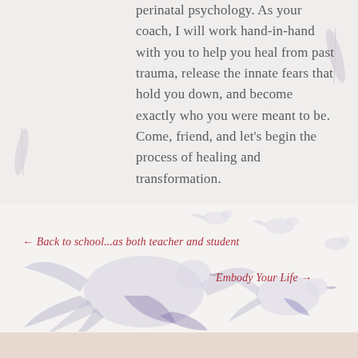perinatal psychology. As your coach, I will work hand-in-hand with you to help you heal from past trauma, release the innate fears that hold you down, and become exactly who you were meant to be. Come, friend, and let's begin the process of healing and transformation.
[Figure (illustration): Watercolor illustrations of doves/birds in soft blue-purple and white tones, scattered across the lower portion of the page]
← Back to school...as both teacher and student
Embody Your Life →